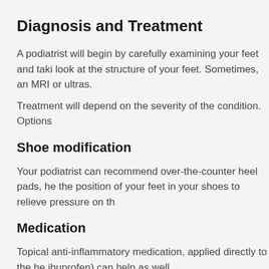Diagnosis and Treatment
A podiatrist will begin by carefully examining your feet and taki look at the structure of your feet. Sometimes, an MRI or ultras.
Treatment will depend on the severity of the condition. Options
Shoe modification
Your podiatrist can recommend over-the-counter heel pads, he the position of your feet in your shoes to relieve pressure on th
Medication
Topical anti-inflammatory medication, applied directly to the he ibuprofen) can help as well.
Immobilization
If the area is extremely inflamed, a custom-made soft cast o